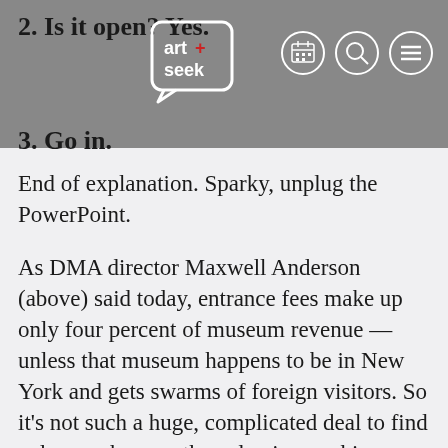2. Is it open? Yes.
[Figure (logo): ArtSeek logo — a speech bubble containing 'art+seek' text with a red plus sign]
3. Go in.
End of explanation. Sparky, unplug the PowerPoint.
As DMA director Maxwell Anderson (above) said today, entrance fees make up only four percent of museum revenue — unless that museum happens to be in New York and gets swarms of foreign visitors. So it's not such a huge, complicated deal to find a donor who sees the value in coughing up that relatively little extra philanthropic effort, a little effort that'll